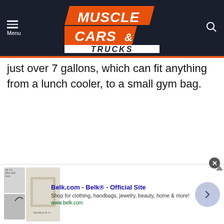Muscle Cars & Trucks
just over 7 gallons, which can fit anything from a lunch cooler, to a small gym bag.
[Figure (infographic): Advertisement banner: Belk.com - Belk® - Official Site. Shop for clothing, handbags, jewelry, beauty, home & more! www.belk.com]